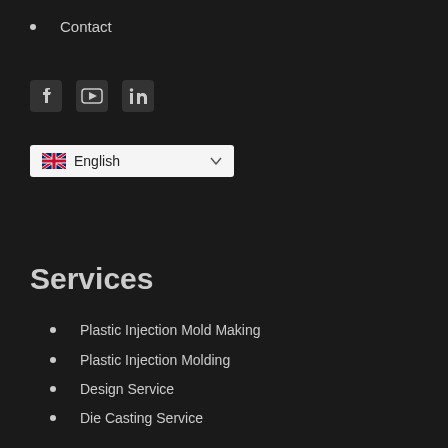Contact
[Figure (other): Social media icons: Facebook, YouTube, LinkedIn]
[Figure (other): Language selector dropdown showing UK flag and English]
Services
Plastic Injection Mold Making
Plastic Injection Molding
Design Service
Die Casting Service
Assembly Service
Other Production Service